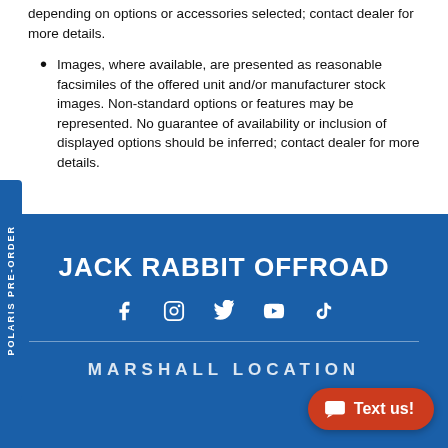depending on options or accessories selected; contact dealer for more details.
Images, where available, are presented as reasonable facsimiles of the offered unit and/or manufacturer stock images. Non-standard options or features may be represented. No guarantee of availability or inclusion of displayed options should be inferred; contact dealer for more details.
JACK RABBIT OFFROAD
[Figure (infographic): Social media icons: Facebook, Instagram, Twitter, YouTube, TikTok]
MARSHALL LOCATION
[Figure (infographic): Text us! button with chat bubble icon, red rounded pill shape]